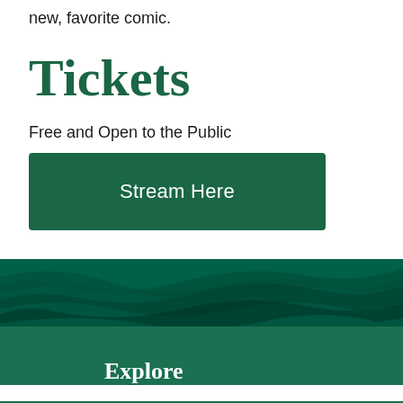If you didn't know, it's about to become your new, favorite comic.
Tickets
Free and Open to the Public
Stream Here
[Figure (illustration): Dark green wave/banner decorative section divider]
Explore
Apply
Give